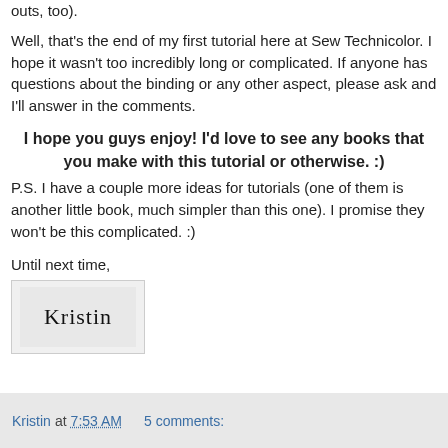outs, too).
Well, that's the end of my first tutorial here at Sew Technicolor. I hope it wasn't too incredibly long or complicated. If anyone has questions about the binding or any other aspect, please ask and I'll answer in the comments.
I hope you guys enjoy! I'd love to see any books that you make with this tutorial or otherwise. :)
P.S. I have a couple more ideas for tutorials (one of them is another little book, much simpler than this one). I promise they won't be this complicated. :)
Until next time,
[Figure (illustration): Handwritten signature 'Kristin' in cursive on a light gray background in a bordered box]
Kristin at 7:53 AM    5 comments: